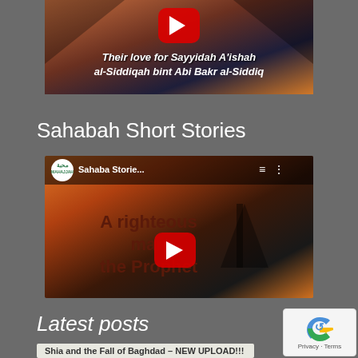[Figure (screenshot): YouTube video thumbnail showing text 'Their love for Sayyidah A'ishah al-Siddiqah bint Abi Bakr al-Siddiq' with a red play button on a dark background with gradient colors]
Sahabah Short Stories
[Figure (screenshot): YouTube video thumbnail from Mahajjah channel titled 'Sahaba Storie...' showing text 'A righteous man towards the Prophet' with a red play button and silhouette of a mosque]
Latest posts
Shia and the Fall of Baghdad – NEW UPLOAD!!!